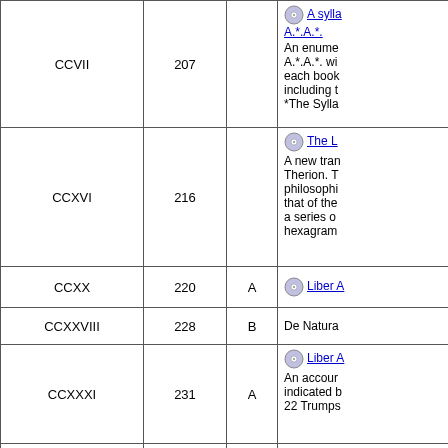| Roman | Number | Grade | Description |
| --- | --- | --- | --- |
| CCVII | 207 |  | A syllabus A.*.A.*.
An enumeration A.*.A.*. with each book including t... *The Sylla... |
| CCXVI | 216 |  | The L...
A new translation Therion. T... philosophi... that of the... a series of... hexagram... |
| CCXX | 220 | A | Liber A... |
| CCXXVIII | 228 | B | De Natura... |
| CCXXXI | 231 | A | Liber A...
An account... indicated b... 22 Trumps... |
| CCXXLII | 242 | C | AHA!
An exposi... ways of at... form of a D... Pupil. |
| CCLXV | 265 |  | The Struct...
A treatise... standpoint... |